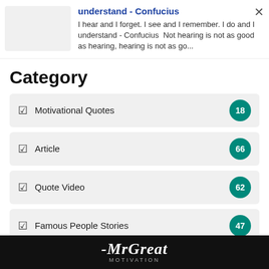understand - Confucius
I hear and I forget. I see and I remember. I do and I understand - Confucius  Not hearing is not as good as hearing, hearing is not as go...
Category
Motivational Quotes 18
Article 66
Quote Video 62
Famous People Stories 47
Motivational Poems 36
MrGreat MOTIVATION